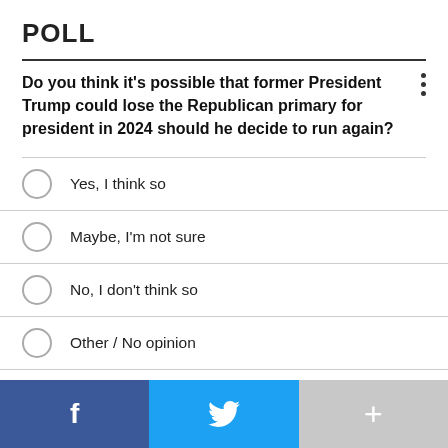POLL
Do you think it's possible that former President Trump could lose the Republican primary for president in 2024 should he decide to run again?
Yes, I think so
Maybe, I'm not sure
No, I don't think so
Other / No opinion
NEXT *
* By clicking "NEXT" you agree to the following: We use cookies to track your survey answers. If you would like to continue with this